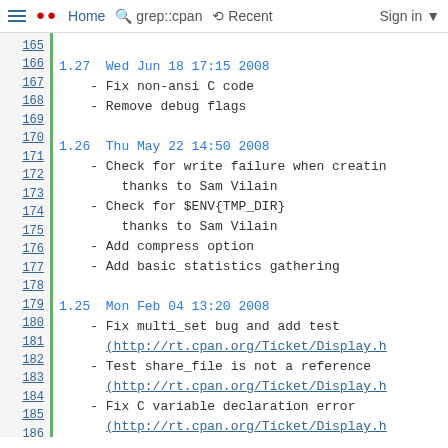Home  grep::cpan  Recent  Sign in
165
166  1.27  Wed Jun 18 17:15 2008
167       - Fix non-ansi C code
168       - Remove debug flags
169
170  1.26  Thu May 22 14:50 2008
171       - Check for write failure when creatin
172             thanks to Sam Vilain
173       - Check for $ENV{TMP_DIR}
174             thanks to Sam Vilain
175       - Add compress option
176       - Add basic statistics gathering
177
178  1.25  Mon Feb 04 13:20 2008
179       - Fix multi_set bug and add test
180          (http://rt.cpan.org/Ticket/Display.h
181       - Test share_file is not a reference
182          (http://rt.cpan.org/Ticket/Display.h
183       - Fix C variable declaration error
184          (http://rt.cpan.org/Ticket/Display.h
185       - Fix compile warnings in FreeBSD
186          (http://rt.cpan.org/Ticket/Display.h
187       - Thanks to all the people that contri
188          to the above bugs
189
190  1.24  Mon Oct 22 13:15 2007